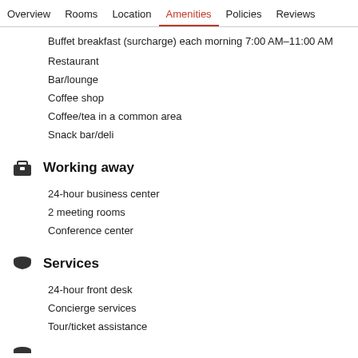Overview  Rooms  Location  Amenities  Policies  Reviews
Buffet breakfast (surcharge) each morning 7:00 AM–11:00 AM
Restaurant
Bar/lounge
Coffee shop
Coffee/tea in a common area
Snack bar/deli
Working away
24-hour business center
2 meeting rooms
Conference center
Services
24-hour front desk
Concierge services
Tour/ticket assistance